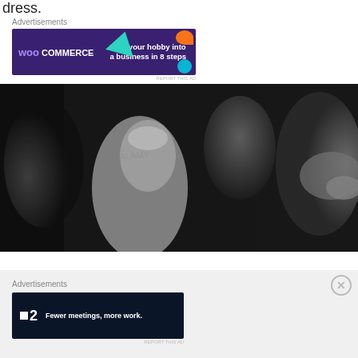dress.
Advertisements
[Figure (screenshot): WooCommerce banner advertisement: purple background with teal triangle, orange and blue shapes. Text reads 'WooCommerce - Turn your hobby into a business in 8 steps']
REPORT THIS AD
[Figure (photo): Black and white photograph of a group of women reacting with excitement, one appears to be a bride in a white dress and veil, others are laughing and gesturing, facing right toward a person in a pig or boar mask]
Advertisements
[Figure (screenshot): Fewer meetings, more work. Dark navy background with F2 logo (white square and number 2) and bold white text reading 'Fewer meetings, more work.']
REPORT THIS AD